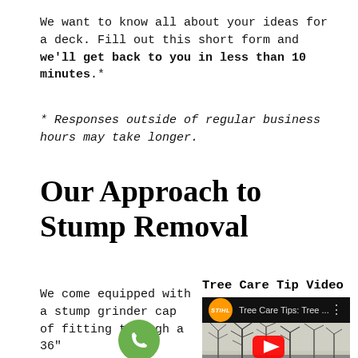We want to know all about your ideas for a deck. Fill out this short form and we'll get back to you in less than 10 minutes.*
* Responses outside of regular business hours may take longer.
Our Approach to Stump Removal
We come equipped with a stump grinder cap of fitting through a 36"
[Figure (screenshot): Tree Care Tip Video embed showing STIHL branded video thumbnail with winter bare trees scene and YouTube play button. Header bar shows orange STIHL circle logo and text 'Tree Care Tips: Tree ...' with three-dot menu.]